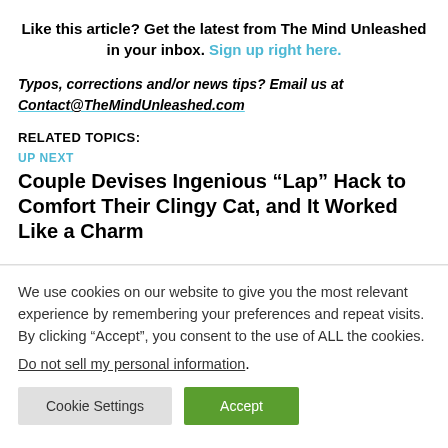Like this article? Get the latest from The Mind Unleashed in your inbox. Sign up right here.
Typos, corrections and/or news tips? Email us at Contact@TheMindUnleashed.com
RELATED TOPICS:
UP NEXT
Couple Devises Ingenious “Lap” Hack to Comfort Their Clingy Cat, and It Worked Like a Charm
We use cookies on our website to give you the most relevant experience by remembering your preferences and repeat visits. By clicking “Accept”, you consent to the use of ALL the cookies.
Do not sell my personal information.
Cookie Settings   Accept